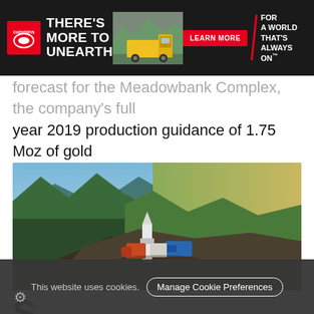[Figure (photo): Cummins advertisement banner: dark background with Cummins logo, bold white text 'THERE'S MORE TO UNEARTH', image of yellow dump truck, red 'LEARN MORE' button, diagonal red divider, white tagline 'FOR A WORLD THAT'S ALWAYS ON']
forecast for the Meadowbank Complex, the company's full year 2019 production guidance of 1.75 Moz of gold remains unchanged.
[Figure (photo): Aerial photograph of a mining drill site surrounded by green coniferous forest. A white drilling rig, orange equipment, and a blue truck sit on a dark rocky hilltop clearing.]
S
This website uses cookies.  Manage Cookie Preferences